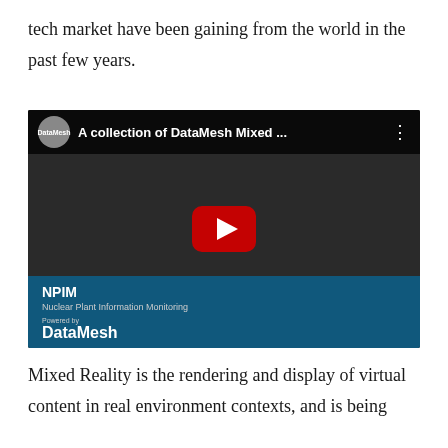tech market have been gaining from the world in the past few years.
[Figure (screenshot): YouTube video embed showing 'A collection of DataMesh Mixed ...' with a dark scene of a person at a table with devices, a play button overlay, and a blue info bar at the bottom showing 'NPIM - Nuclear Plant Information Monitoring, Powered by DataMesh']
Mixed Reality is the rendering and display of virtual content in real environment contexts, and is being